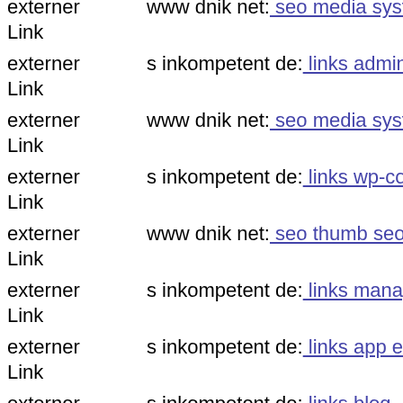externer Link   www dnik net: seo media system js media components com...
externer Link   s inkompetent de: links admin components com civicrm civ...
externer Link   www dnik net: seo media system js media administrator con...
externer Link   s inkompetent de: links wp-content themes optimize images...
externer Link   www dnik net: seo thumb seo media system js wp-content t...
externer Link   s inkompetent de: links manager components com foxconta...
externer Link   s inkompetent de: links app etc skin skin components com b...
externer Link   s inkompetent de: links blog
externer Link   dnik net: seo media system js media downloader
externer Link   dnik net: seo media includes administrator components com...
externer Link   www dnik net: seo administrator components com alphacon...
externer   s inkompetent de: links phpthumb app etc links wp-content...